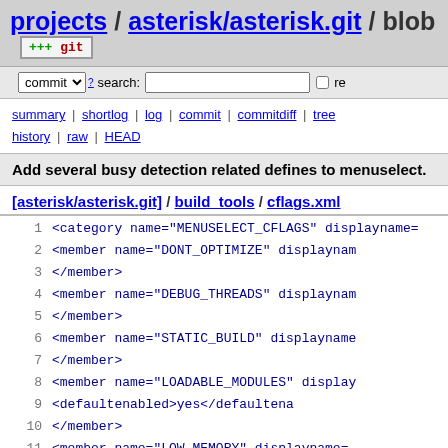projects / asterisk/asterisk.git / blob [git]
commit search: [text input] re
summary | shortlog | log | commit | commitdiff | tree history | raw | HEAD
Add several busy detection related defines to menuselect.
[asterisk/asterisk.git] / build_tools / cflags.xml
1  <category name="MENUSELECT_CFLAGS" displayname=...
2      <member name="DONT_OPTIMIZE" displaynam...
3      </member>
4      <member name="DEBUG_THREADS" displaynam...
5      </member>
6      <member name="STATIC_BUILD" displayname...
7      </member>
8      <member name="LOADABLE_MODULES" display...
9              <defaultenabled>yes</defaultena...
10     </member>
11     <member name="LOW_MEMORY" displayname=...
12     </member>
13     <member name="LOTS_OF_SPANS" displaynam...
14     </member>
15     <member name="MTX_PROFILE" displayname=...
16     </member>
17     <member name="RADIO_RELAX" displayname=...
18     </member>
19     <member name="G711_NEW_ALGORITHM" disp...